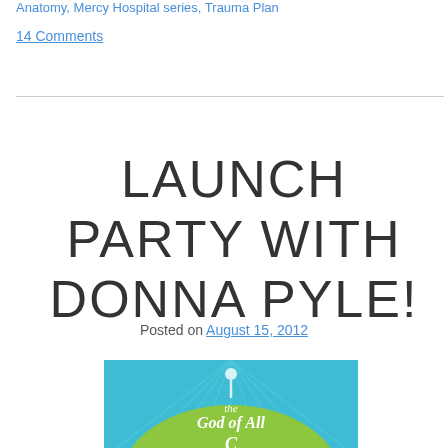Anatomy, Mercy Hospital series, Trauma Plan
14 Comments
LAUNCH PARTY WITH DONNA PYLE!
Posted on August 15, 2012
[Figure (illustration): Book cover image showing 'the God of All Comfort' with teal and green design elements]